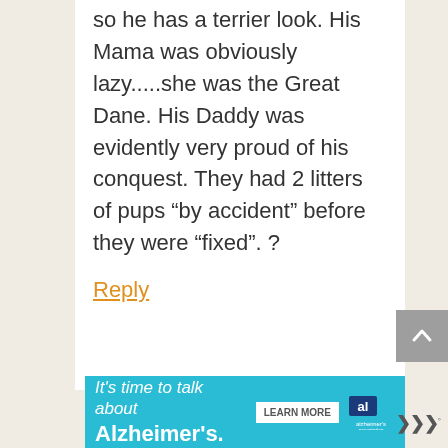so he has a terrier look. His Mama was obviously lazy.....she was the Great Dane. His Daddy was evidently very proud of his conquest. They had 2 litters of pups “by accident” before they were “fixed”. ?
Reply
[Figure (other): Back to top arrow button (grey square with upward chevron)]
[Figure (other): Alzheimer's Association advertisement banner: It's time to talk about Alzheimer's. LEARN MORE button and Alzheimer's association logo.]